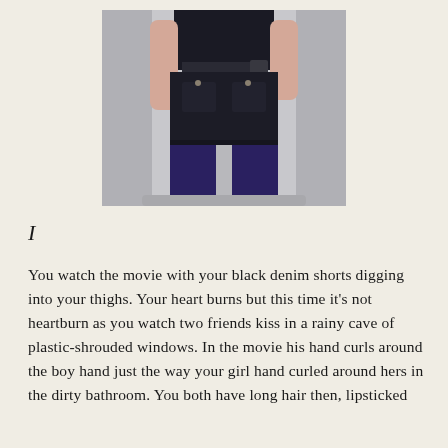[Figure (photo): A person photographed from behind, wearing black denim shorts over dark purple leggings and a dark sleeveless top with a belt. They are standing against a light gray/white wall.]
I
You watch the movie with your black denim shorts digging into your thighs. Your heart burns but this time it's not heartburn as you watch two friends kiss in a rainy cave of plastic-shrouded windows. In the movie his hand curls around the boy hand just the way your girl hand curled around hers in the dirty bathroom. You both have long hair then, lipsticked